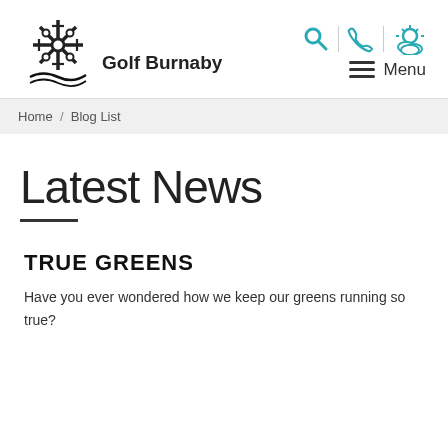[Figure (logo): Golf Burnaby logo with snowflake/tree icon and text 'Golf Burnaby']
[Figure (infographic): Header icons: search magnifying glass, phone, weather sun/cloud, and hamburger menu with 'Menu' text]
Home / Blog List
Latest News
TRUE GREENS
Have you ever wondered how we keep our greens running so true?